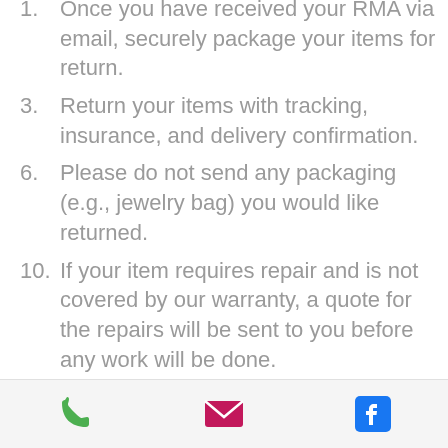Once you have received your RMA via email, securely package your items for return.
Return your items with tracking, insurance, and delivery confirmation.
Please do not send any packaging (e.g., jewelry bag) you would like returned.
If your item requires repair and is not covered by our warranty, a quote for the repairs will be sent to you before any work will be done.
Once it has been repaired, you may be responsible for return shipping.
JEWELRY CLEANING
We encourage you to send your
phone | email | facebook